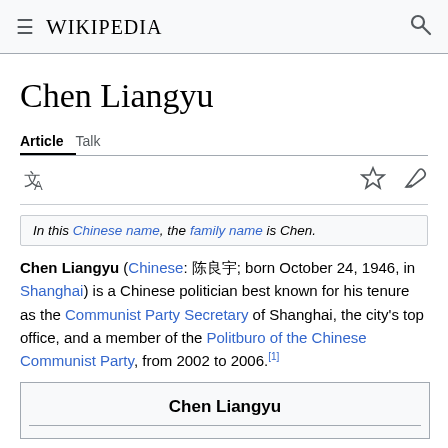Wikipedia
Chen Liangyu
Article  Talk
In this Chinese name, the family name is Chen.
Chen Liangyu (Chinese: 陈良宇; born October 24, 1946, in Shanghai) is a Chinese politician best known for his tenure as the Communist Party Secretary of Shanghai, the city's top office, and a member of the Politburo of the Chinese Communist Party, from 2002 to 2006.[1]
| Chen Liangyu |
| --- |
|  |